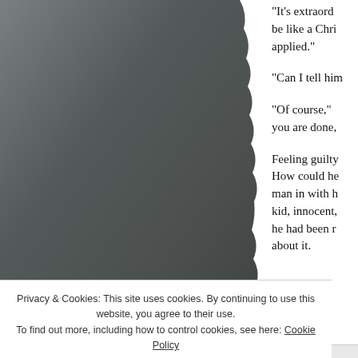[Figure (photo): Dark grey/charcoal toned image occupying the left two-thirds of the page, with a torn or rough right edge blending into white background.]
“It’s extraord be like a Chri applied.”
“Can I tell him
“Of course,” you are done,
Feeling guilty How could he man in with h kid, innocent, he had been r about it.
Privacy & Cookies: This site uses cookies. By continuing to use this website, you agree to their use. To find out more, including how to control cookies, see here: Cookie Policy
Close and accept
AIRPORT-LIVE.AS